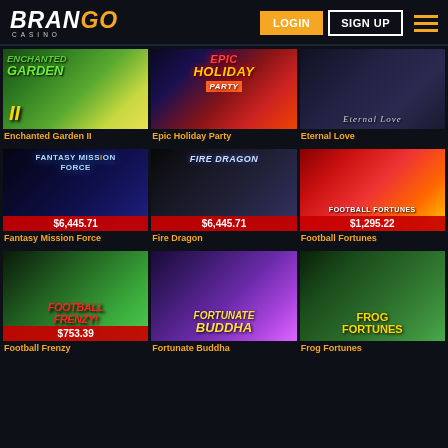[Figure (screenshot): Brango Casino website header with logo, LOGIN button (gold), SIGN UP button (outlined white), and hamburger menu icon]
[Figure (photo): Enchanted Garden II slot game thumbnail]
[Figure (photo): Epic Holiday Party slot game thumbnail]
[Figure (photo): Eternal Love slot game thumbnail]
Enchanted Garden II
Epic Holiday Party
Eternal Love
[Figure (photo): Fantasy Mission Force slot game thumbnail with jackpot $6,445.71]
[Figure (photo): Fire Dragon slot game thumbnail with jackpot $6,445.71]
[Figure (photo): Football Fortunes slot game thumbnail with jackpot $1,295.22]
Fantasy Mission Force
Fire Dragon
Football Fortunes
[Figure (photo): Football Frenzy slot game thumbnail with jackpot $753.39]
[Figure (photo): Fortunate Buddha slot game thumbnail]
[Figure (photo): Frog Fortunes slot game thumbnail]
Football Frenzy
Fortunate Buddha
Frog Fortunes